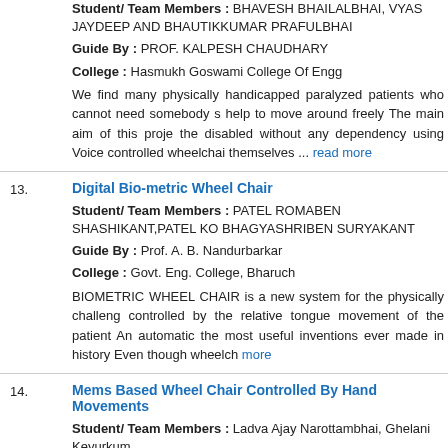Student/ Team Members : BHAVESH BHAILALBHAI, VYAS JAYDEEP AND BHAUTIKKUMAR PRAFULBHAI
Guide By : PROF. KALPESH CHAUDHARY
College : Hasmukh Goswami College Of Engg
We find many physically handicapped paralyzed patients who cannot need somebody s help to move around freely The main aim of this project the disabled without any dependency using Voice controlled wheelchair themselves ... read more
13. Digital Bio-metric Wheel Chair
Student/ Team Members : PATEL ROMABEN SHASHIKANT,PATEL KO BHAGYASHRIBEN SURYAKANT
Guide By : Prof. A. B. Nandurbarkar
College : Govt. Eng. College, Bharuch
BIOMETRIC WHEEL CHAIR is a new system for the physically challenged controlled by the relative tongue movement of the patient An automatic the most useful inventions ever made in history Even though wheelch more
14. Mems Based Wheel Chair Controlled By Hand Movements
Student/ Team Members : Ladva Ajay Narottambhai, Ghelani Keyurkum
College : Dr. Subhash P. Chavda Ahir Kelvani Mandals Group Of Institut
Approximately 6 million people in the world face the problem of disab